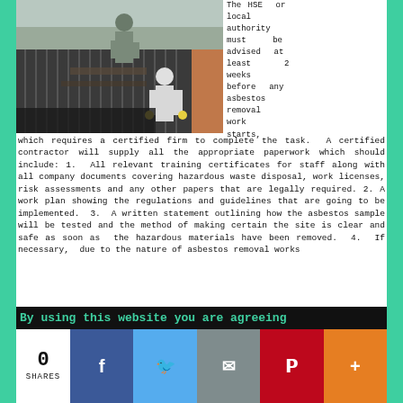[Figure (photo): Workers in protective suits removing asbestos from a corrugated roof of a building]
The HSE or local authority must be advised at least 2 weeks before any asbestos removal work starts, which requires a certified firm to complete the task. A certified contractor will supply all the appropriate paperwork which should include: 1. All relevant training certificates for staff along with all company documents covering hazardous waste disposal, work licenses, risk assessments and any other papers that are legally required. 2. A work plan showing the regulations and guidelines that are going to be implemented. 3. A written statement outlining how the asbestos sample will be tested and the method of making certain the site is clear and safe as soon as the hazardous materials have been removed. 4. If necessary, due to the nature of asbestos removal works
By using this website you are agreeing
0
SHARES